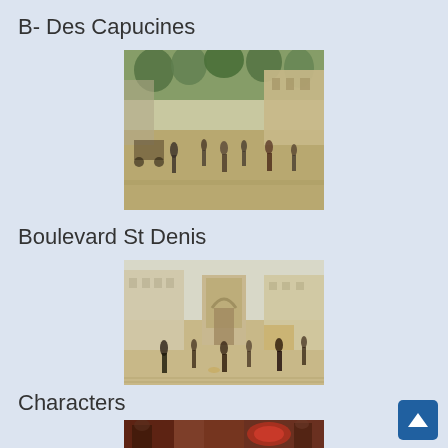[Figure (photo): Partial image of a painting visible at the very top of the page (cropped)]
B- Des Capucines
[Figure (photo): Painting of Boulevard des Capucines in Paris — a busy street scene with pedestrians, trees, and buildings in an Impressionist style]
Boulevard St Denis
[Figure (photo): Painting of Boulevard St Denis in Paris — a wide street scene with the Saint-Denis gate visible in the background, pedestrians in 19th century dress]
Characters
[Figure (photo): Partial painting showing characters in an interior scene, warm reddish-brown tones (cropped at bottom of page)]